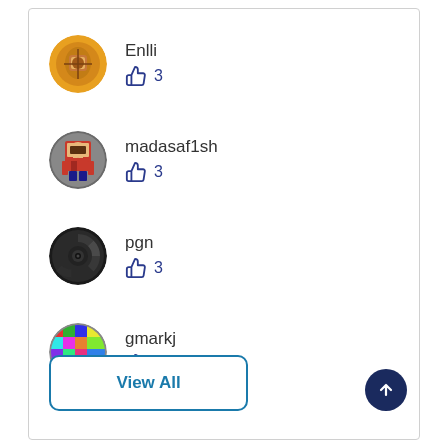[Figure (illustration): User avatar for Enlli - orange/gold circular avatar with decorative design]
Enlli
👍 3
[Figure (illustration): User avatar for madasaf1sh - Lego minifigure character]
madasaf1sh
👍 3
[Figure (illustration): User avatar for pgn - dark spiral pattern]
pgn
👍 3
[Figure (illustration): User avatar for gmarkj - colorful mosaic pattern]
gmarkj
👍 2
View All